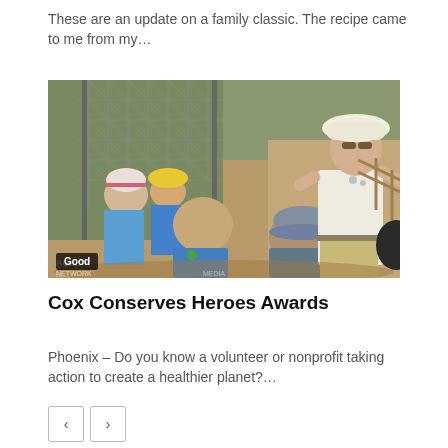These are an update on a family classic. The recipe came to me from my…
[Figure (photo): An outdoor educator in a white shirt and sun hat stands facing a group of children wearing blue shirts and masks at what appears to be a zoo or nature center with chain-link fencing and a dirt path in the background.]
Cox Conserves Heroes Awards
Phoenix – Do you know a volunteer or nonprofit taking action to create a healthier planet?…
< navigation button
> navigation button